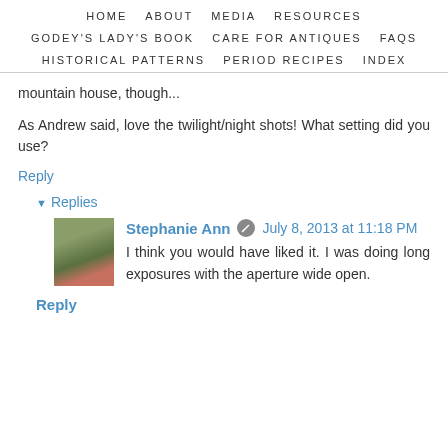HOME   ABOUT   MEDIA   RESOURCES   GODEY'S LADY'S BOOK   CARE FOR ANTIQUES   FAQS   HISTORICAL PATTERNS   PERIOD RECIPES   INDEX
mountain house, though...
As Andrew said, love the twilight/night shots! What setting did you use?
Reply
▾ Replies
Stephanie Ann   July 8, 2013 at 11:18 PM
I think you would have liked it. I was doing long exposures with the aperture wide open.
Reply